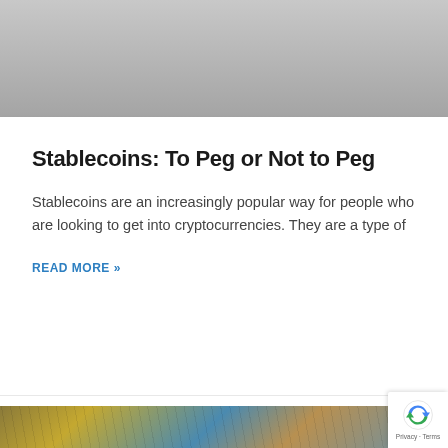[Figure (photo): Gray gradient background area at top of page, representing a blurred or placeholder article header image]
Stablecoins: To Peg or Not to Peg
Stablecoins are an increasingly popular way for people who are looking to get into cryptocurrencies. They are a type of
READ MORE »
Jenell McLaughlin · February 28, 2022
[Figure (photo): Partial bottom strip showing a building facade or architectural photo with golden and blue tones]